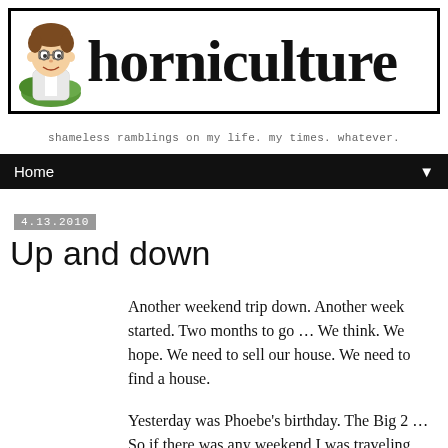[Figure (logo): horniculture blog header banner with illustrated cartoon character and large serif logotype text, bracket borders]
shameless ramblings on my life. my times. whatever.
Home ▼
4.13.2010
Up and down
Another weekend trip down. Another week started. Two months to go … We think. We hope. We need to sell our house. We need to find a house.
Yesterday was Phoebe's birthday. The Big 2 … So if there was any weekend I was traveling back to K-Town -- it